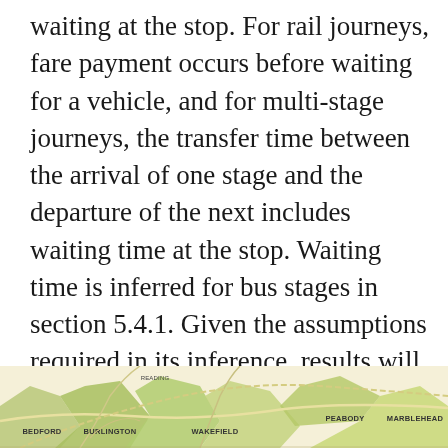waiting at the stop. For rail journeys, fare payment occurs before waiting for a vehicle, and for multi-stage journeys, the transfer time between the arrival of one stage and the departure of the next includes waiting time at the stop. Waiting time is inferred for bus stages in section 5.4.1. Given the assumptions required in its inference, results will first be compared by disaggregating statistics by mode, such that journey times with recorded waiting times are not compared with journey times lacking waiting time.
[Figure (map): Partial view of a geographic map showing place names including BEDFORD, BURLINGTON, WAKEFIELD, PEABODY, MARBLEHEAD and surrounding areas with colored regions.]